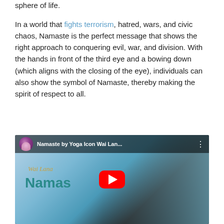sphere of life.
In a world that fights terrorism, hatred, wars, and civic chaos, Namaste is the perfect message that shows the right approach to conquering evil, war, and division. With the hands in front of the third eye and a bowing down (which aligns with the closing of the eye), individuals can also show the symbol of Namaste, thereby making the spirit of respect to all.
[Figure (screenshot): YouTube video thumbnail for 'Namaste by Yoga Icon Wai Lan...' showing a woman in a namaste pose wearing a teal outfit and floral headpiece, with the YouTube play button overlay.]